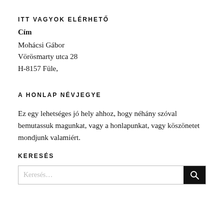ITT VAGYOK ELÉRHETŐ
Cím
Mohácsi Gábor
Vörösmarty utca 28
H-8157 Füle,
A HONLAP NÉVJEGYE
Ez egy lehetséges jó hely ahhoz, hogy néhány szóval bemutassuk magunkat, vagy a honlapunkat, vagy köszönetet mondjunk valamiért.
KERESÉS
[Figure (other): Search input box with a dark search button icon on the right]